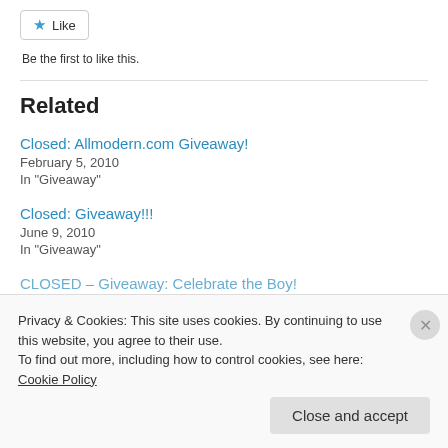[Figure (other): Like button with star icon]
Be the first to like this.
Related
Closed: Allmodern.com Giveaway!
February 5, 2010
In "Giveaway"
Closed: Giveaway!!!
June 9, 2010
In "Giveaway"
CLOSED – Giveaway: Celebrate the Boy!
Privacy & Cookies: This site uses cookies. By continuing to use this website, you agree to their use.
To find out more, including how to control cookies, see here: Cookie Policy